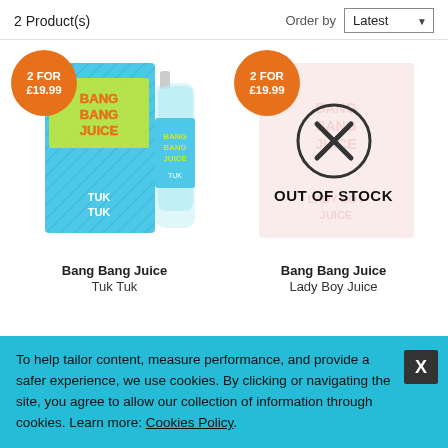2 Product(s)
Order by Latest
[Figure (photo): Bang Bang Juice Tuk Tuk e-liquid product image with orange '2 FOR £19.99' badge]
Bang Bang Juice Tuk Tuk
[Figure (photo): Bang Bang Juice Lady Boy Juice product image with orange '2 FOR £19.99' badge and OUT OF STOCK overlay with X circle]
Bang Bang Juice Lady Boy Juice
To help tailor content, measure performance, and provide a safer experience, we use cookies. By clicking or navigating the site, you agree to allow our collection of information through cookies. Learn more: Cookies Policy.